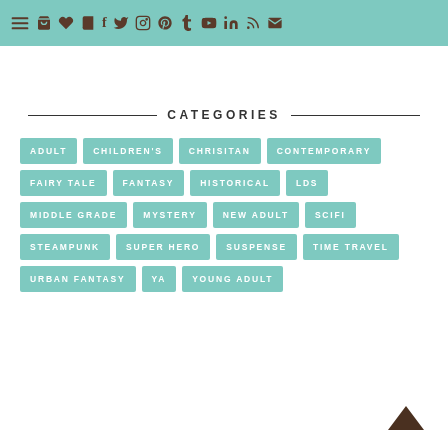Navigation bar with menu and social icons
CATEGORIES
ADULT
CHILDREN'S
CHRISITAN
CONTEMPORARY
FAIRY TALE
FANTASY
HISTORICAL
LDS
MIDDLE GRADE
MYSTERY
NEW ADULT
SCIFI
STEAMPUNK
SUPER HERO
SUSPENSE
TIME TRAVEL
URBAN FANTASY
YA
YOUNG ADULT